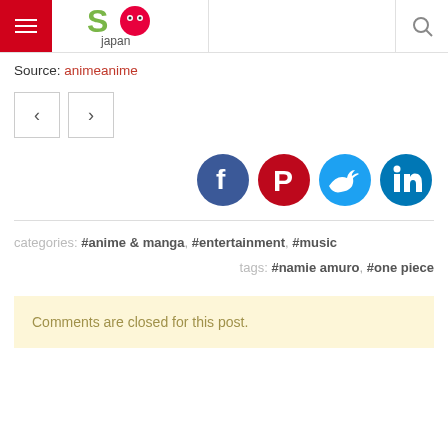SO Japan
Source: animeanime
[Figure (other): Navigation previous and next arrow buttons]
[Figure (other): Social media icons: Facebook, Pinterest, Twitter, LinkedIn]
categories: #anime & manga, #entertainment, #music
tags: #namie amuro, #one piece
Comments are closed for this post.